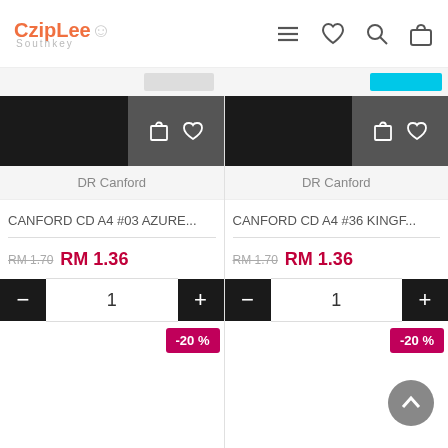[Figure (screenshot): CzipLee Southkey e-commerce website header with logo, hamburger menu, heart, search, and bag icons]
DR Canford
DR Canford
CANFORD CD A4 #03 AZURE...
CANFORD CD A4 #36 KINGF...
RM 1.70  RM 1.36
RM 1.70  RM 1.36
-20 %
-20 %